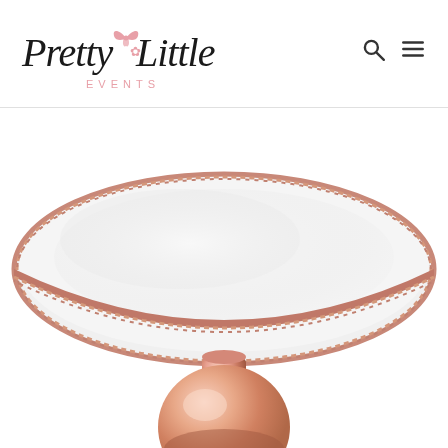Pretty Little Events — website header with logo and navigation icons
[Figure (photo): Close-up photo of a rose gold mirrored cake stand with beaded/rope trim edge and a polished rose gold pedestal ball base, photographed from slightly above on a white background.]